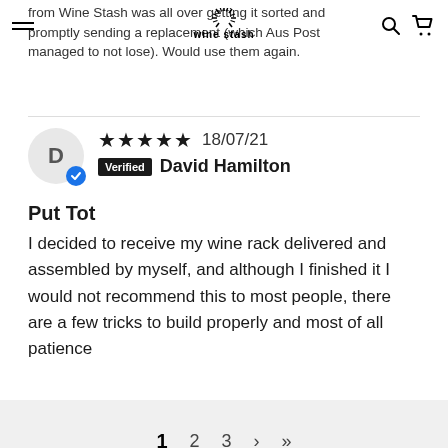Wine Stash
from Wine Stash was all over getting it sorted and promptly sending a replacement (which Aus Post managed to not lose). Would use them again.
★★★★★ 18/07/21 Verified David Hamilton
Put Tot
I decided to receive my wine rack delivered and assembled by myself, and although I finished it I would not recommend this to most people, there are a few tricks to build properly and most of all patience
1 2 3 > >|